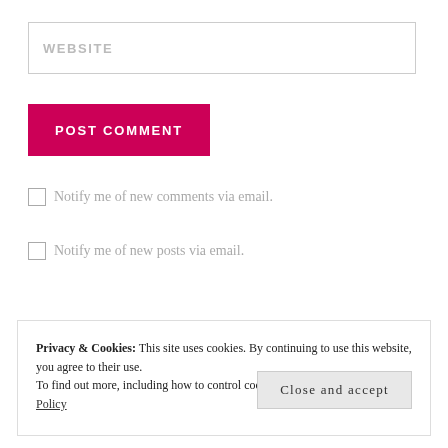WEBSITE
POST COMMENT
Notify me of new comments via email.
Notify me of new posts via email.
Privacy & Cookies: This site uses cookies. By continuing to use this website, you agree to their use.
To find out more, including how to control cookies, see here: Our Cookie Policy
Close and accept